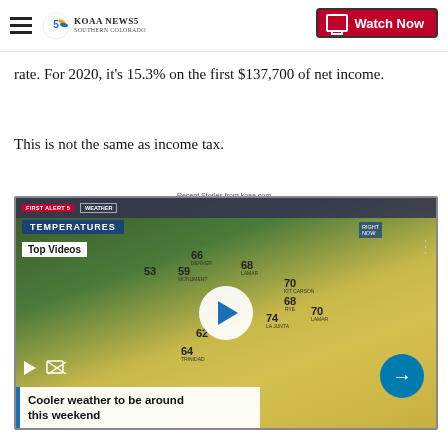KOAA NEWS5 Southern Colorado | Watch Now
rate. For 2020, it's 15.3% on the first $137,700 of net income.
This is not the same as income tax.
Recent Stories from koaa.com
[Figure (screenshot): Video thumbnail showing a weather presenter in front of a temperature map of Southern Colorado. Temperatures shown: 66 Denver, 53, 59 Monument, 68 Lamar, 70 Kit Carson, 68 Rye, 74 La Junta, 70 Lamar, 73 Springfield, 62 Walsenburg, 64 Trinidad. Play button overlay. Top Videos label. Header bar with First Alert 5 Weather and Temperatures Right Now.]
Cooler weather to be around this weekend